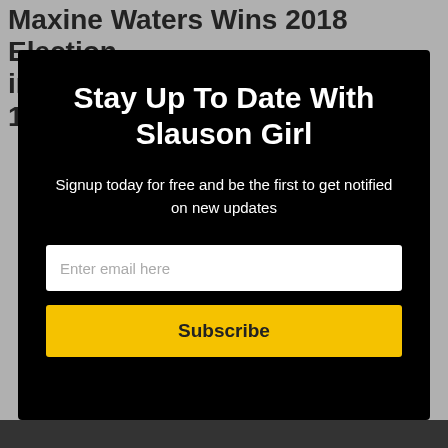Maxine Waters Wins 2018 Election in Los Angeles, Heads To Her 16th
[Figure (screenshot): Modal popup overlay on a dark background with newsletter signup form for 'Slauson Girl']
Stay Up To Date With Slauson Girl
Signup today for free and be the first to get notified on new updates
Enter email here
Subscribe